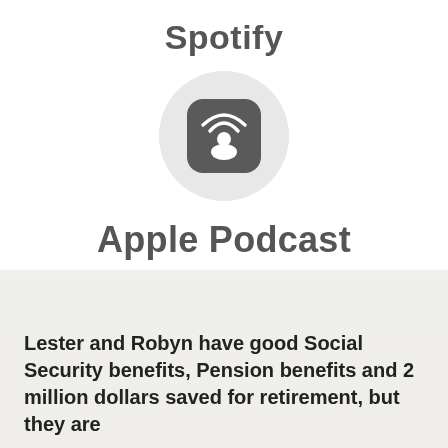Spotify
[Figure (logo): Apple Podcasts app icon: a rounded square with dark gray background containing a podcast signal/person icon in white, placed inside a light gray circle]
Apple Podcast
Lester and Robyn have good Social Security benefits, Pension benefits and 2 million dollars saved for retirement, but they are